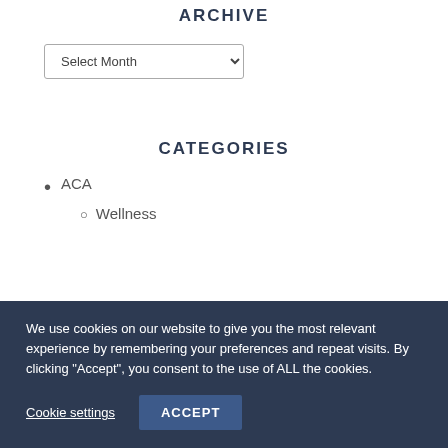ARCHIVE
Select Month
CATEGORIES
ACA
Wellness
We use cookies on our website to give you the most relevant experience by remembering your preferences and repeat visits. By clicking “Accept”, you consent to the use of ALL the cookies.
Cookie settings
ACCEPT